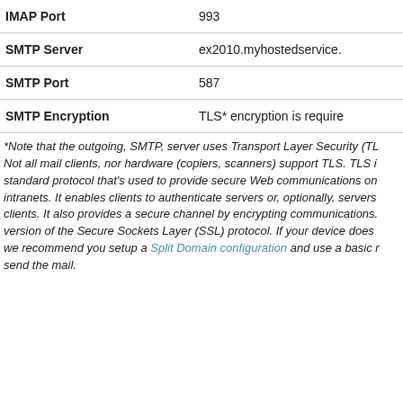| Field | Value |
| --- | --- |
| IMAP Port | 993 |
| SMTP Server | ex2010.myhostedservice. |
| SMTP Port | 587 |
| SMTP Encryption | TLS* encryption is require |
*Note that the outgoing, SMTP, server uses Transport Layer Security (TL… Not all mail clients, nor hardware (copiers, scanners) support TLS. TLS is a standard protocol that's used to provide secure Web communications on intranets. It enables clients to authenticate servers or, optionally, servers to clients. It also provides a secure channel by encrypting communications. version of the Secure Sockets Layer (SSL) protocol. If your device does we recommend you setup a Split Domain configuration and use a basic r send the mail.